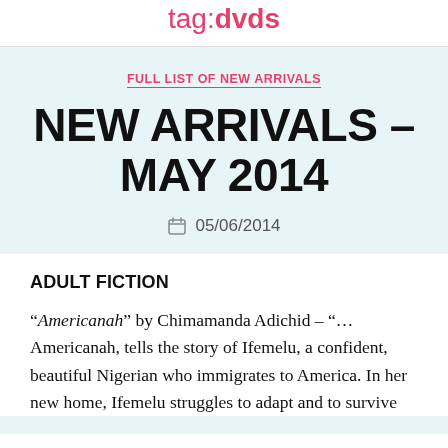tag: dvds
FULL LIST OF NEW ARRIVALS
NEW ARRIVALS – MAY 2014
05/06/2014
ADULT FICTION
“Americanah” by Chimamanda Adichid – “… Americanah, tells the story of Ifemelu, a confident, beautiful Nigerian who immigrates to America. In her new home, Ifemelu struggles to adapt and to survive